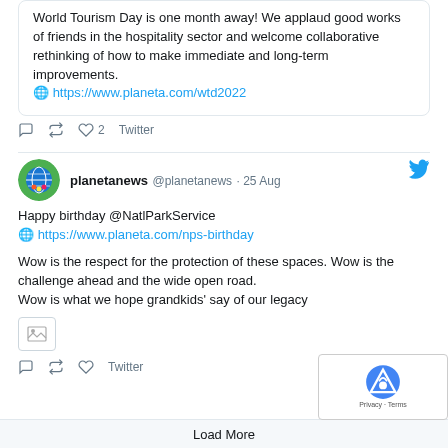World Tourism Day is one month away! We applaud good works of friends in the hospitality sector and welcome collaborative rethinking of how to make immediate and long-term improvements.
🌐 https://www.planeta.com/wtd2022
Twitter · 2 likes
planetanews @planetanews · 25 Aug
Happy birthday @NatlParkService
🌐 https://www.planeta.com/nps-birthday

Wow is the respect for the protection of these spaces. Wow is the challenge ahead and the wide open road.
Wow is what we hope grandkids' say of our legacy
Twitter
Load More